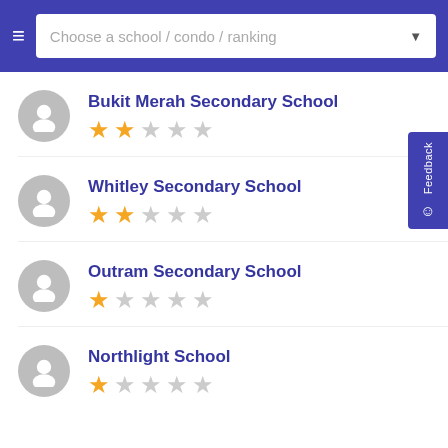[Figure (screenshot): App header with hamburger menu and search/dropdown bar reading 'Choose a school / condo / ranking']
Bukit Merah Secondary School, rating: 2.5 stars out of 5
Whitley Secondary School, rating: 2.5 stars out of 5
Outram Secondary School, rating: 1.5 stars out of 5
Northlight School, rating: 1 star out of 5